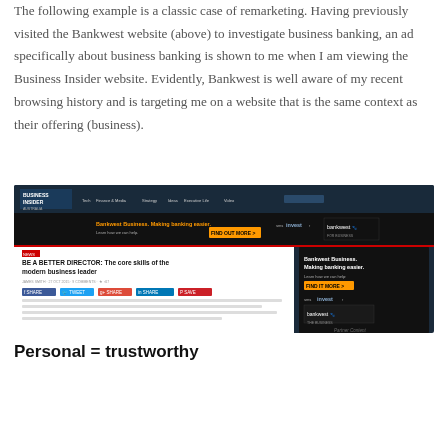The following example is a classic case of remarketing. Having previously visited the Bankwest website (above) to investigate business banking, an ad specifically about business banking is shown to me when I am viewing the Business Insider website. Evidently, Bankwest is well aware of my recent browsing history and is targeting me on a website that is the same context as their offering (business).
[Figure (screenshot): Screenshot of the Business Insider Australia website showing a Bankwest Business banner advertisement reading 'Bankwest Business. Making banking easier.' with a 'FIND OUT MORE' button, and a sidebar ad for Bankwest Business. The page shows an article titled 'BE A BETTER DIRECTOR: The core skills of the modern business leader' with social sharing buttons.]
Personal = trustworthy